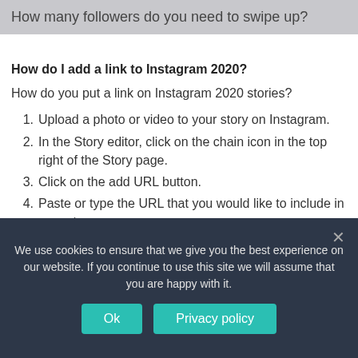How many followers do you need to swipe up?
How do I add a link to Instagram 2020?
How do you put a link on Instagram 2020 stories?
1. Upload a photo or video to your story on Instagram.
2. In the Story editor, click on the chain icon in the top right of the Story page.
3. Click on the add URL button.
4. Paste or type the URL that you would like to include in your story.
We use cookies to ensure that we give you the best experience on our website. If you continue to use this site we will assume that you are happy with it.